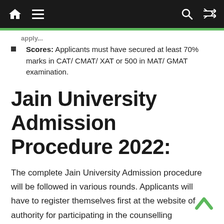Navigation bar with home, menu, search, and shuffle icons
Scores: Applicants must have secured at least 70% marks in CAT/ CMAT/ XAT or 500 in MAT/ GMAT examination.
Jain University Admission Procedure 2022:
The complete Jain University Admission procedure will be followed in various rounds. Applicants will have to register themselves first at the website of authority for participating in the counselling procedure.